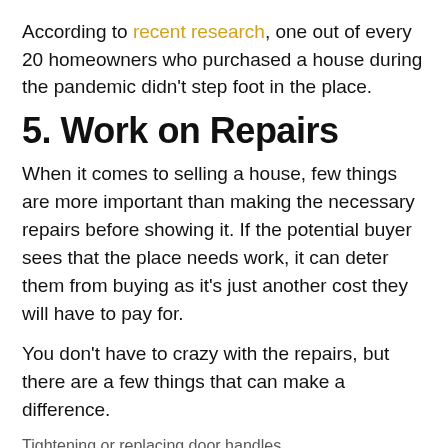According to recent research, one out of every 20 homeowners who purchased a house during the pandemic didn't step foot in the place.
5. Work on Repairs
When it comes to selling a house, few things are more important than making the necessary repairs before showing it. If the potential buyer sees that the place needs work, it can deter them from buying as it's just another cost they will have to pay for.
You don't have to crazy with the repairs, but there are a few things that can make a difference.
Tightening or replacing door handles
Blending paint where needed
Patching holes
You could also consider making a few improvements as well to help it sell quicker. A fresh paint job, new